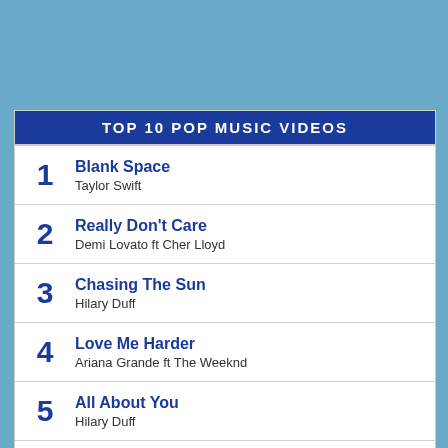TOP 10 POP MUSIC VIDEOS
1 Blank Space
Taylor Swift
2 Really Don't Care
Demi Lovato ft Cher Lloyd
3 Chasing The Sun
Hilary Duff
4 Love Me Harder
Ariana Grande ft The Weeknd
5 All About You
Hilary Duff
6 The Heart Wants What It Wants
Selena Gomez
7 Bang Bang
Jessie J & Ariana Grande & Nicki Minaj